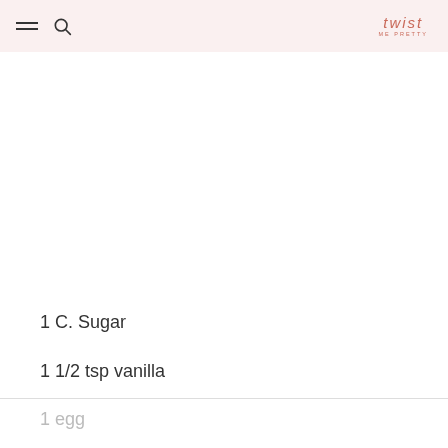twist me pretty — navigation header with hamburger menu, search icon, and logo
1 C. Sugar
1 1/2 tsp vanilla
1 egg